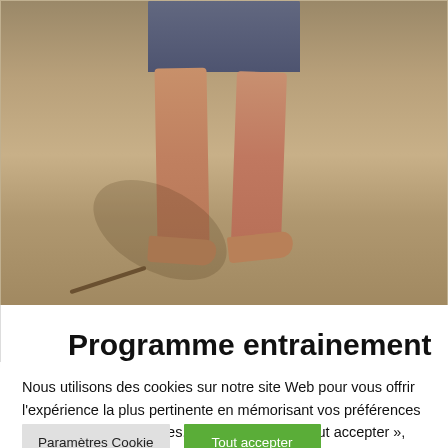[Figure (photo): A person standing barefoot on dry, cracked sand at a beach, wearing dark patterned shorts. Lower body visible from mid-thigh down with shadow visible on sand.]
Programme entrainement
Nous utilisons des cookies sur notre site Web pour vous offrir l'expérience la plus pertinente en mémorisant vos préférences et en répétant vos visites. En cliquant sur « Tout accepter », vous consentez à l'utilisation de TOUS les cookies. Cependant, vous pouvez visiter les « Paramètres des cookies » pour fournir un consentement contrôlé.
Paramètres Cookie
Tout accepter